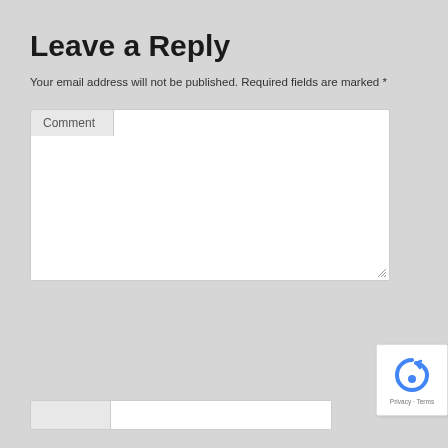Leave a Reply
Your email address will not be published. Required fields are marked *
Comment
Name *
Email *
[Figure (other): reCAPTCHA widget with Privacy and Terms links]